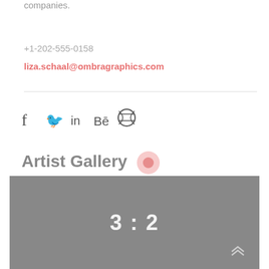companies.
+1-202-555-0158
liza.schaal@ombragraphics.com
[Figure (infographic): Social media icons: f (Facebook), bird/Twitter, in (LinkedIn), Bē (Behance), circle-globe (Dribbble)]
Artist Gallery
[Figure (other): Gray placeholder image with white text '3 : 2' in the center, indicating a 3:2 aspect ratio placeholder.]